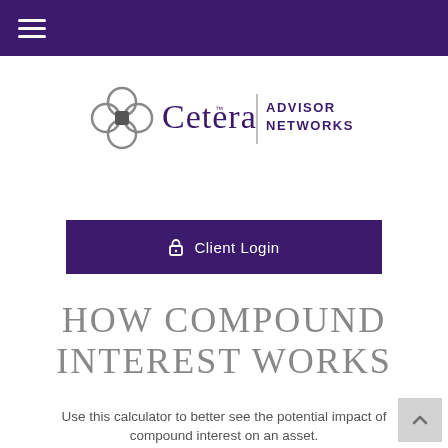☰
[Figure (logo): Cetera Advisor Networks logo with four interlocking circles and text 'Cetera™ | ADVISOR NETWORKS']
Client Login
HOW COMPOUND INTEREST WORKS
Use this calculator to better see the potential impact of compound interest on an asset.